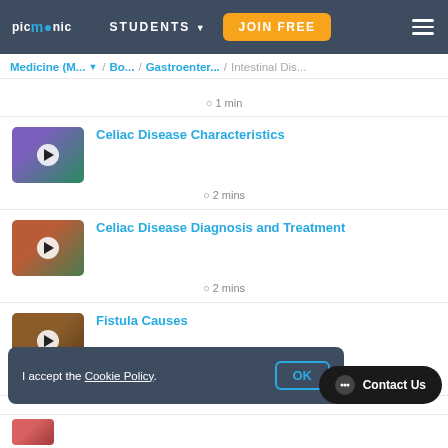picmonic | STUDENTS | JOIN FREE
Medicine (M... ▼ / Bo... / Gastroenter... / Intestinal Dis...
⊙ 1 min
Celiac Disease Characteristics
⊙ 2 mins
Celiac Disease Diagnosis and Treatment
⊙ 2 mins
Fistula Causes
⊙ 1 min
I accept the Cookie Policy.  OK
💬 Contact Us